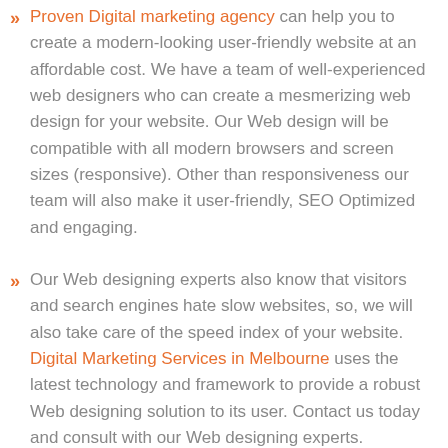Proven Digital marketing agency can help you to create a modern-looking user-friendly website at an affordable cost. We have a team of well-experienced web designers who can create a mesmerizing web design for your website. Our Web design will be compatible with all modern browsers and screen sizes (responsive). Other than responsiveness our team will also make it user-friendly, SEO Optimized and engaging.
Our Web designing experts also know that visitors and search engines hate slow websites, so, we will also take care of the speed index of your website. Digital Marketing Services in Melbourne uses the latest technology and framework to provide a robust Web designing solution to its user. Contact us today and consult with our Web designing experts.